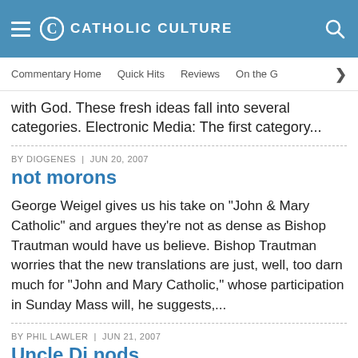CATHOLIC CULTURE
Commentary Home | Quick Hits | Reviews | On the G >
with God. These fresh ideas fall into several categories. Electronic Media: The first category...
BY DIOGENES | JUN 20, 2007
not morons
George Weigel gives us his take on "John & Mary Catholic" and argues they're not as dense as Bishop Trautman would have us believe. Bishop Trautman worries that the new translations are just, well, too darn much for "John and Mary Catholic," whose participation in Sunday Mass will, he suggests,...
BY PHIL LAWLER | JUN 21, 2007
Uncle Di nods